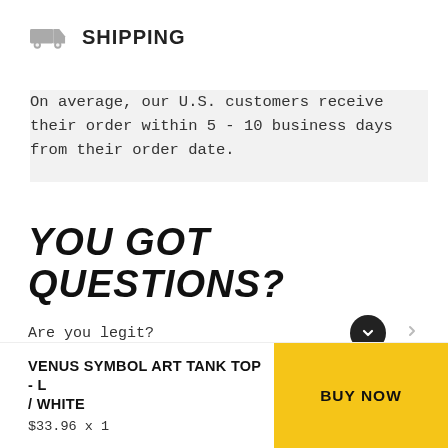SHIPPING
On average, our U.S. customers receive their order within 5 - 10 business days from their order date.
YOU GOT QUESTIONS?
Are you legit?
VENUS SYMBOL ART TANK TOP - L / WHITE
$33.96 x 1